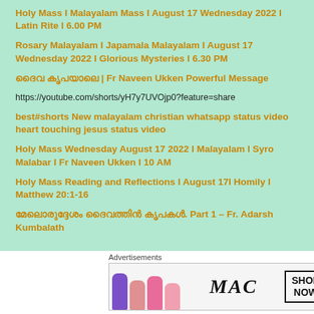Holy Mass I Malayalam Mass I August 17 Wednesday 2022 I Latin Rite I 6.00 PM
Rosary Malayalam I Japamala Malayalam I August 17 Wednesday 2022 I Glorious Mysteries I 6.30 PM
ദൈവ കൃപയാലെ | Fr Naveen Ukken Powerful Message
https://youtube.com/shorts/yH7y7UVOjp0?feature=share
best#shorts New malayalam christian whatsapp status video heart touching jesus status video
Holy Mass Wednesday August 17 2022 I Malayalam I Syro Malabar I Fr Naveen Ukken I 10 AM
Holy Mass Reading and Reflections I August 17I Homily I Matthew 20:1-16
മേലൊരുദ്ദേശം ദൈവത്തിൻ കൃപകൾ. Part 1 – Fr. Adarsh Kumbalath
Advertisements
[Figure (photo): MAC cosmetics advertisement banner showing lipsticks in purple, pink, and red colors with MAC logo and SHOP NOW button]